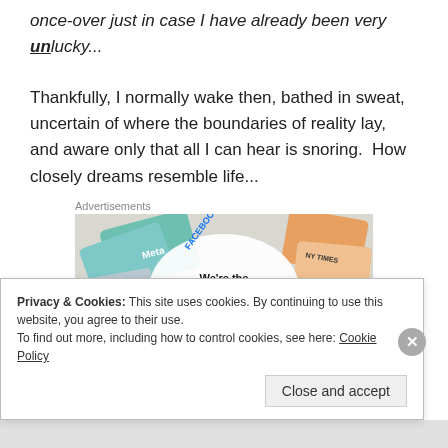once-over just in case I have already been very unlucky...
Thankfully, I normally wake then, bathed in sweat, uncertain of where the boundaries of reality lay, and aware only that all I can hear is snoring.  How closely dreams resemble life...
Advertisements
[Figure (screenshot): WordPress CMS advertisement banner showing Meta, Facebook and NY Times logos with text 'We're the WordPress CMS for Very...']
Privacy & Cookies: This site uses cookies. By continuing to use this website, you agree to their use.
To find out more, including how to control cookies, see here: Cookie Policy
Close and accept